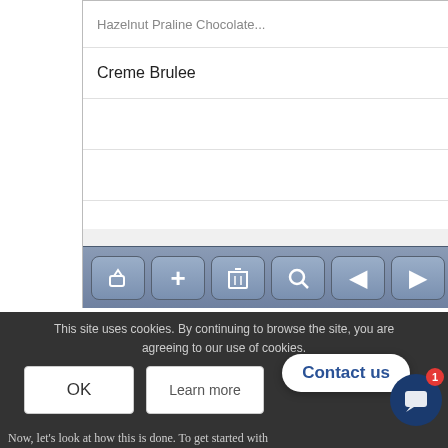[Figure (screenshot): Mobile app interface showing a list with 'Creme Brulee' item and refresh icons, with a toolbar at the bottom containing share, add, delete, search, and navigation buttons. A flag icon appears in the top right corner.]
Click the image below to see the video:
[Figure (screenshot): Cookie consent banner with dark background, OK button, Learn more button, Contact us popup bubble, and chat button with notification badge. Text: 'This site uses cookies. By continuing to browse the site, you are agreeing to our use of cookies.' and at bottom: 'Now, let’s look at how this is done. To get started with']